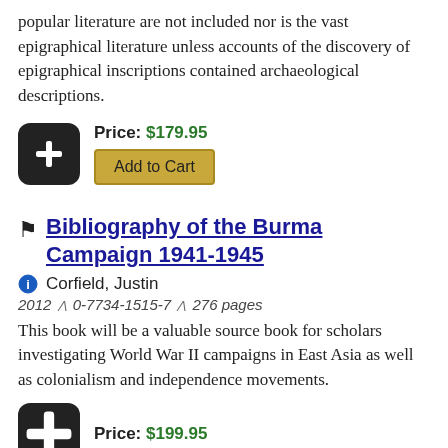popular literature are not included nor is the vast epigraphical literature unless accounts of the discovery of epigraphical inscriptions contained archaeological descriptions.
Price: $179.95
Add to Cart
Bibliography of the Burma Campaign 1941-1945
Corfield, Justin
2012 ∧ 0-7734-1515-7 ∧ 276 pages
This book will be a valuable source book for scholars investigating World War II campaigns in East Asia as well as colonialism and independence movements.
Price: $199.95